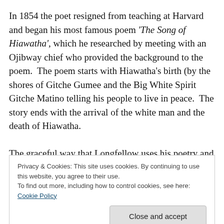In 1854 the poet resigned from teaching at Harvard and began his most famous poem 'The Song of Hiawatha', which he researched by meeting with an Ojibway chief who provided the background to the poem.  The poem starts with Hiawatha's birth (by the shores of Gitche Gumee and the Big White Spirit Gitche Matino telling his people to live in peace.  The story ends with the arrival of the white man and the death of Hiawatha.

The graceful way that Longfellow uses his poetry and the sing song effect, almost mimic the way in which birds sing,
Privacy & Cookies: This site uses cookies. By continuing to use this website, you agree to their use.
To find out more, including how to control cookies, see here: Cookie Policy
[Figure (photo): Partial image at bottom showing text 'HIAWATHA' in decorative golden letters on a dark green/brown background]